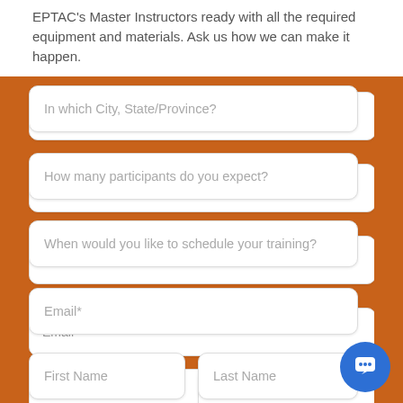EPTAC's Master Instructors ready with all the required equipment and materials. Ask us how we can make it happen.
In which City, State/Province?
How many participants do you expect?
When would you like to schedule your training?
Email*
First Name
Last Name
Company Name*
Country